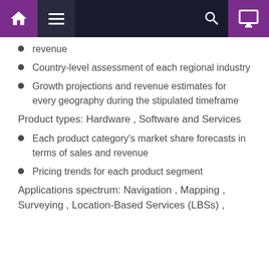Navigation bar with home, menu, search, and monitor icons
revenue
Country-level assessment of each regional industry
Growth projections and revenue estimates for every geography during the stipulated timeframe
Product types: Hardware , Software and Services
Each product category's market share forecasts in terms of sales and revenue
Pricing trends for each product segment
Applications spectrum: Navigation , Mapping , Surveying , Location-Based Services (LBSs) ,